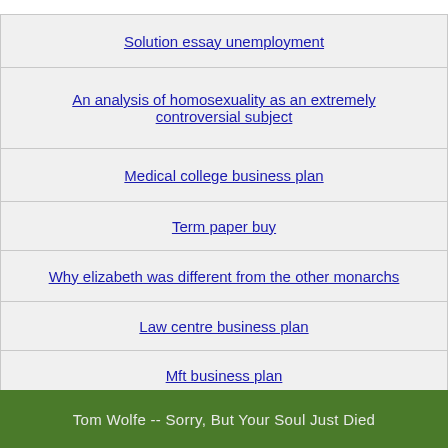Solution essay unemployment
An analysis of homosexuality as an extremely controversial subject
Medical college business plan
Term paper buy
Why elizabeth was different from the other monarchs
Law centre business plan
Mft business plan
English source paper
Tom Wolfe -- Sorry, But Your Soul Just Died